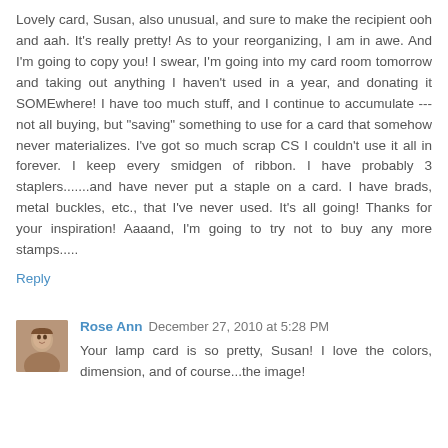Lovely card, Susan, also unusual, and sure to make the recipient ooh and aah. It's really pretty! As to your reorganizing, I am in awe. And I'm going to copy you! I swear, I'm going into my card room tomorrow and taking out anything I haven't used in a year, and donating it SOMEwhere! I have too much stuff, and I continue to accumulate --- not all buying, but "saving" something to use for a card that somehow never materializes. I've got so much scrap CS I couldn't use it all in forever. I keep every smidgen of ribbon. I have probably 3 staplers.......and have never put a staple on a card. I have brads, metal buckles, etc., that I've never used. It's all going! Thanks for your inspiration! Aaaand, I'm going to try not to buy any more stamps.....
Reply
Rose Ann  December 27, 2010 at 5:28 PM
Your lamp card is so pretty, Susan! I love the colors, dimension, and of course...the image!